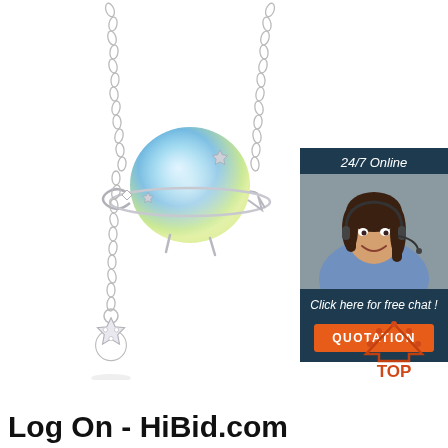[Figure (photo): A silver necklace with a blue-violet aurora/moonstone planet pendant featuring silver star accents and diamond crystals, with a dangling star charm on a long chain drop. White background product photo.]
[Figure (photo): A 24/7 online customer service widget showing a smiling female agent wearing a headset, with text 'Click here for free chat!' and an orange QUOTATION button on a dark navy background.]
[Figure (logo): Orange and red 'TOP' badge icon with upward arrow/caret shape above the word TOP]
Log On - HiBid.com